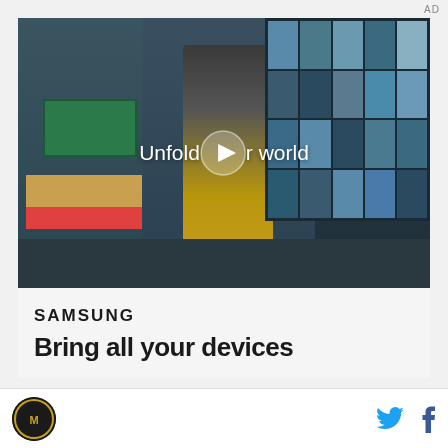AD
[Figure (screenshot): Samsung video ad showing a young man in a denim jacket walking through a school cafeteria. The video has a play button overlay and the text 'Unfold your world' displayed.]
SAMSUNG
Bring all your devices
Site logo and social share icons for Twitter and Facebook